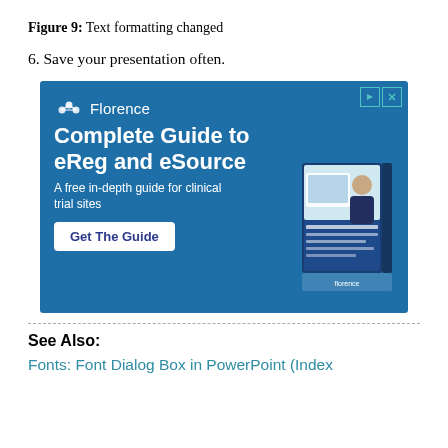Figure 9: Text formatting changed
6. Save your presentation often.
[Figure (illustration): Advertisement for Florence 'Complete Guide to eReg and eSource' - a free in-depth guide for clinical trial sites, with a Get The Guide button and a book image.]
See Also:
Fonts: Font Dialog Box in PowerPoint (Index